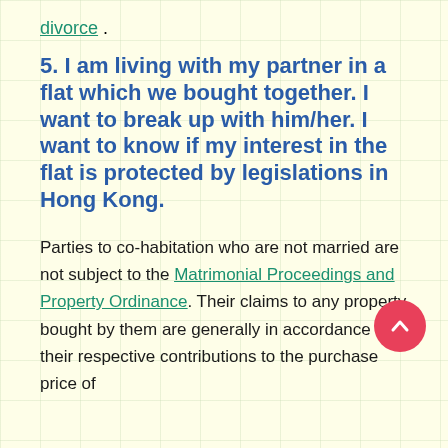divorce .
5. I am living with my partner in a flat which we bought together. I want to break up with him/her. I want to know if my interest in the flat is protected by legislations in Hong Kong.
Parties to co-habitation who are not married are not subject to the Matrimonial Proceedings and Property Ordinance. Their claims to any property bought by them are generally in accordance with their respective contributions to the purchase price of